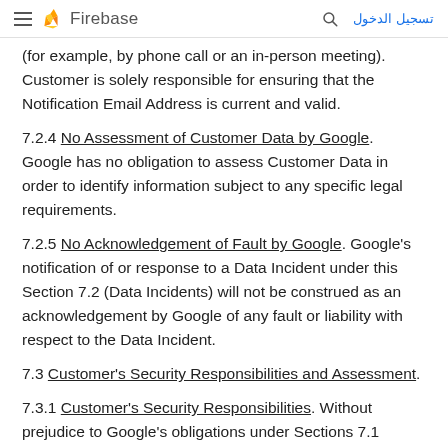Firebase — تسجيل الدخول
(for example, by phone call or an in-person meeting). Customer is solely responsible for ensuring that the Notification Email Address is current and valid.
7.2.4 No Assessment of Customer Data by Google. Google has no obligation to assess Customer Data in order to identify information subject to any specific legal requirements.
7.2.5 No Acknowledgement of Fault by Google. Google's notification of or response to a Data Incident under this Section 7.2 (Data Incidents) will not be construed as an acknowledgement by Google of any fault or liability with respect to the Data Incident.
7.3 Customer's Security Responsibilities and Assessment.
7.3.1 Customer's Security Responsibilities. Without prejudice to Google's obligations under Sections 7.1